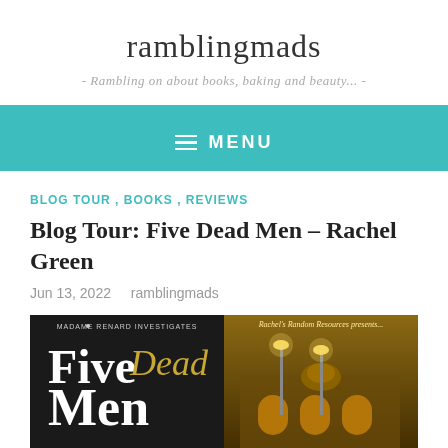ramblingmads
- Rambling on about books, baking and beauty... -
MENU
BLOG TOUR , BOOKS , REVIEWS
Blog Tour: Five Dead Men – Rachel Green
Jun 13, 2022   ramblingmads
[Figure (photo): Book cover for Five Dead Men by Rachel Green showing the title text against a dark background, with 'Madame Renard Investigates' at the top, alongside a blog tour banner from Rachel's Random Resources showing an ornate building with warm lighting at night.]